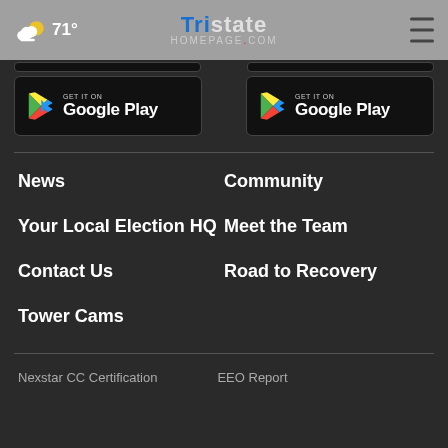71° Tristate Homepage.com
[Figure (screenshot): Two Google Play store buttons for downloading apps]
News
Community
Your Local Election HQ
Meet the Team
Contact Us
Road to Recovery
Tower Cams
Nexstar CC Certification   EEO Report